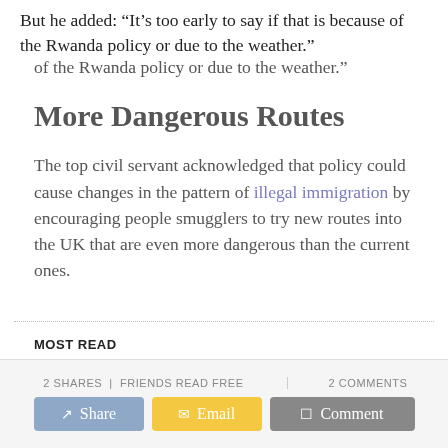But he added: “It’s too early to say if that is because of the Rwanda policy or due to the weather.”
More Dangerous Routes
The top civil servant acknowledged that policy could cause changes in the pattern of illegal immigration by encouraging people smugglers to try new routes into the UK that are even more dangerous than the current ones.
MOST READ
2 SHARES | FRIENDS READ FREE
2 COMMENTS
Share
Email
Comment